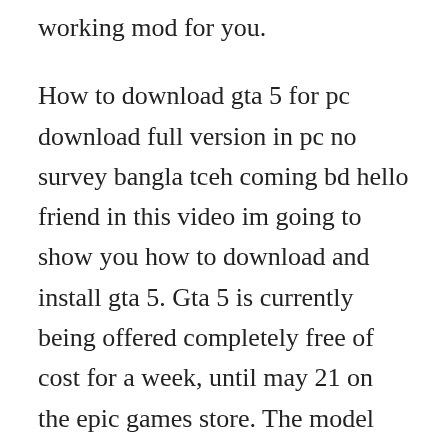working mod for you.
How to download gta 5 for pc download full version in pc no survey bangla tceh coming bd hello friend in this video im going to show you how to download and install gta 5. Gta 5 is currently being offered completely free of cost for a week, until may 21 on the epic games store. The model doesnt have to be perfect or have facial expressions, please my boi. Oppo mirror 5 price in india, specifications, comparison. Download gta vice city for windows 10 64 bit for free. Get a